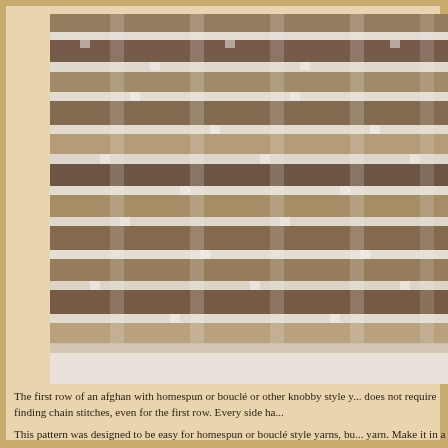[Figure (photo): Close-up photograph of a crocheted afghan swatch made with homespun or bouclé yarn in brown and tan tones, showing an open lace-like stitch pattern with visible gaps between textured rows.]
The first row of an afghan with homespun or bouclé or other knobby style yarn does not require finding chain stitches, even for the first row. Every side has...
This pattern was designed to be easy for homespun or bouclé style yarns, but yarn. Make it in a solid color or with as many color changes as you like...